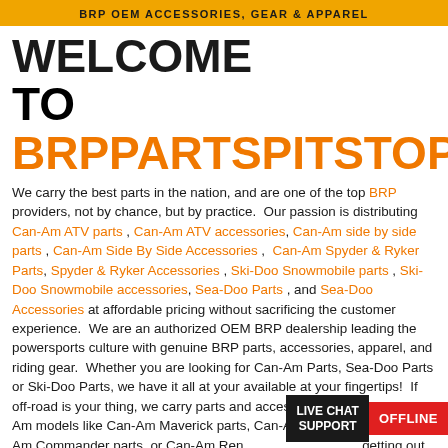BRP OEM ACCESSORIES, GEAR & APPAREL
WELCOME TO BRPPARTSPITSTOP.COM!
We carry the best parts in the nation, and are one of the top BRP providers, not by chance, but by practice. Our passion is distributing Can-Am ATV parts , Can-Am ATV accessories, Can-Am side by side parts , Can-Am Side By Side Accessories , Can-Am Spyder & Ryker Parts, Spyder & Ryker Accessories , Ski-Doo Snowmobile parts , Ski-Doo Snowmobile accessories, Sea-Doo Parts , and Sea-Doo Accessories at affordable pricing without sacrificing the customer experience. We are an authorized OEM BRP dealership leading the powersports culture with genuine BRP parts, accessories, apparel, and riding gear. Whether you are looking for Can-Am Parts, Sea-Doo Parts or Ski-Doo Parts, we have it all at your available at your fingertips! If off-road is your thing, we carry parts and accessories for all the Can-Am models like Can-Am Maverick parts, Can-Am Outlander parts, Can-Am Commander parts, or Can-Am Ren getting out on the water is what you prefer Sea-Doo accessories. We carry
LIVE CHAT SUPPORT OFFLINE